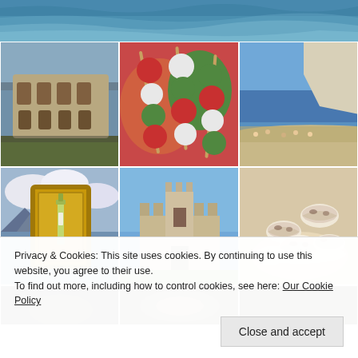[Figure (photo): Top banner showing a sea/ocean with waves and blue water]
[Figure (photo): Photo grid with 6 Italian-themed images: Colosseum, food skewers, beach with cliff, wine bottle in frame, castle, mushrooms]
[Figure (photo): Bottom row of photos partially visible: dark food image, plate/food, dark interior scene]
Privacy & Cookies: This site uses cookies. By continuing to use this website, you agree to their use.
To find out more, including how to control cookies, see here: Our Cookie Policy